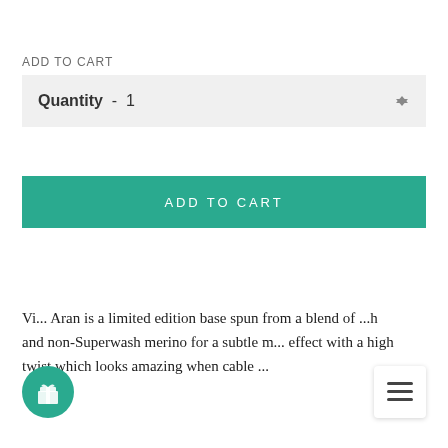ADD TO CART
[Figure (screenshot): Quantity spinner input box showing 'Quantity - 1' with up/down arrows]
[Figure (screenshot): Teal 'ADD TO CART' button]
Vi... Aran is a limited edition base spun from a blend of ...h and non-Superwash merino for a subtle m... effect with a high twist which looks amazing when cable ...
[Figure (illustration): Green circle gift icon button in bottom left]
[Figure (screenshot): Hamburger menu icon button in bottom right]